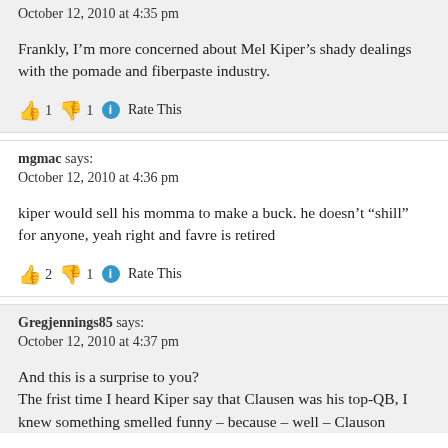October 12, 2010 at 4:35 pm
Frankly, I’m more concerned about Mel Kiper’s shady dealings with the pomade and fiberpaste industry.
👍 1 👎 1 ⓘ Rate This
mgmac says:
October 12, 2010 at 4:36 pm
kiper would sell his momma to make a buck. he doesn’t “shill” for anyone, yeah right and favre is retired
👍 2 👎 1 ⓘ Rate This
Gregjennings85 says:
October 12, 2010 at 4:37 pm
And this is a surprise to you?
The frist time I heard Kiper say that Clausen was his top-QB, I knew something smelled funny – because – well – Clauson